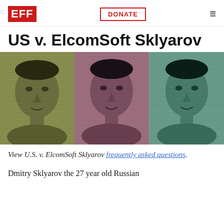EFF | DONATE
US v. ElcomSoft Sklyarov
[Figure (photo): Three tinted portrait photos of the same man shown side by side — olive/yellow-green tint on left, mauve/pink tint in center, teal/green tint on right. Horizontal scan lines overlay each panel.]
View U.S. v. ElcomSoft Sklyarov frequently asked questions.
Dmitry Sklyarov the 27 year old Russian